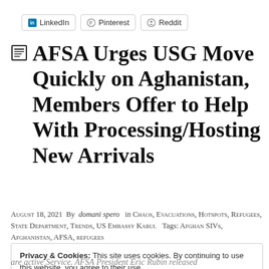[Figure (other): Social share buttons for LinkedIn, Pinterest, and Reddit]
AFSA Urges USG Move Quickly on Aghanistan, Members Offer to Help With Processing/Hosting New Arrivals
August 18, 2021  By domani spero  in Chaos, Evacuations, Hotspots, Refugees, State Department, Trends, US Embassy Kabul  Tags: Afghan SIVs, Afghanistan, AFSA, refugees
Privacy & Cookies: This site uses cookies. By continuing to use this website, you agree to their use.
To find out more, including how to control cookies, see here: Cookie Policy
are active Service. AFSA President Eric Rubin released